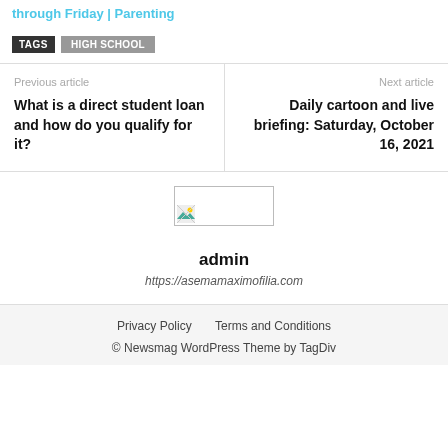through Friday | Parenting
TAGS  HIGH SCHOOL
Previous article
What is a direct student loan and how do you qualify for it?
Next article
Daily cartoon and live briefing: Saturday, October 16, 2021
[Figure (photo): Small broken image placeholder thumbnail]
admin
https://asemamaximofilia.com
Privacy Policy   Terms and Conditions
© Newsmag WordPress Theme by TagDiv